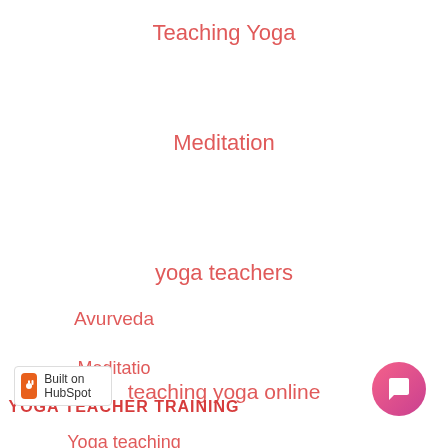Teaching Yoga
Meditation
yoga teachers
teaching yoga online
Online yoga teaching
Avurveda
Meditatio…
YOGA TEACHER TRAINING
Yoga teaching
[Figure (screenshot): Chat popup with avatar showing 'Got a question? I'm here to help!' message and close button]
[Figure (screenshot): Chat button - pink/magenta circular button with chat icon]
[Figure (logo): Built on HubSpot badge with orange HubSpot logo]